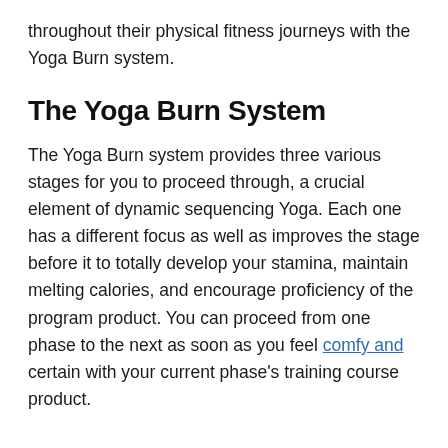throughout their physical fitness journeys with the Yoga Burn system.
The Yoga Burn System
The Yoga Burn system provides three various stages for you to proceed through, a crucial element of dynamic sequencing Yoga. Each one has a different focus as well as improves the stage before it to totally develop your stamina, maintain melting calories, and encourage proficiency of the program product. You can proceed from one phase to the next as soon as you feel comfy and certain with your current phase's training course product.